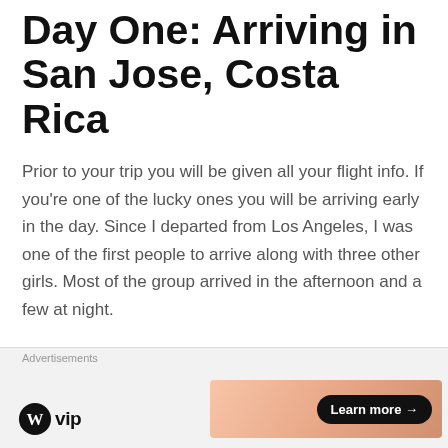Day One: Arriving in San Jose, Costa Rica
Prior to your trip you will be given all your flight info. If you're one of the lucky ones you will be arriving early in the day. Since I departed from Los Angeles, I was one of the first people to arrive along with three other girls. Most of the group arrived in the afternoon and a few at night.
Advertisements
[Figure (screenshot): Red advertisement banner with white bold text reading 'An app by listeners, for' and a phone image on the left]
Advertisements
[Figure (screenshot): WordPress VIP logo on left, peach/orange gradient ad banner on right with 'Learn more →' black pill button]